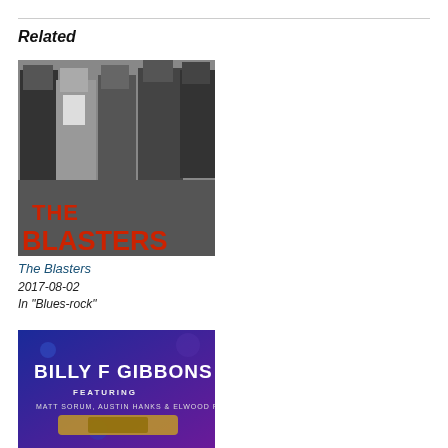Related
[Figure (photo): Black and white photo of The Blasters band members standing together, with large red stylized text 'THE BLASTERS' overlaid at the bottom.]
The Blasters
2017-08-02
In "Blues-rock"
[Figure (photo): Concert poster or album artwork for Billy F Gibbons featuring Matt Sorum, Austin Hanks & Elwood Francis, with blue and purple background and white text.]